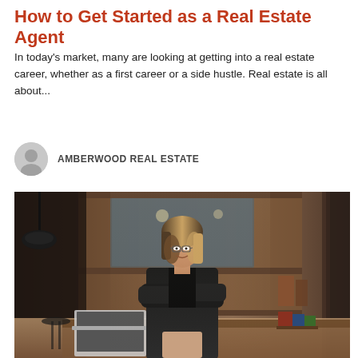How to Get Started as a Real Estate Agent
In today's market, many are looking at getting into a real estate career, whether as a first career or a side hustle. Real estate is all about...
AMBERWOOD REAL ESTATE
[Figure (photo): A professional woman in a black blazer standing with arms crossed in a modern office with wooden shelving and a desk with a laptop and books.]